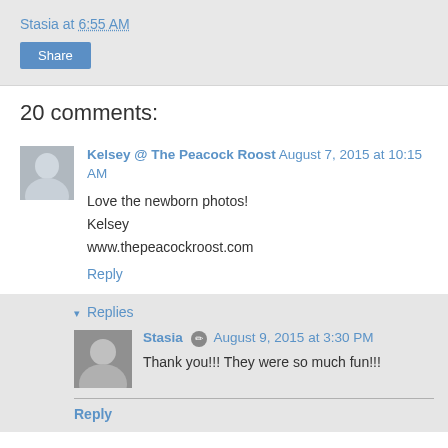Stasia at 6:55 AM
Share
20 comments:
Kelsey @ The Peacock Roost August 7, 2015 at 10:15 AM
Love the newborn photos!
Kelsey
www.thepeacockroost.com
Reply
▾ Replies
Stasia August 9, 2015 at 3:30 PM
Thank you!!! They were so much fun!!!
Reply